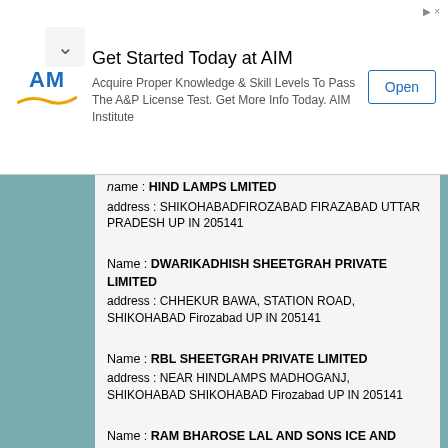[Figure (screenshot): Advertisement banner for AIM Institute with logo, title 'Get Started Today at AIM', body text, and Open button]
Name : HIND LAMPS LMITED
address : SHIKOHABADFIROZABAD FIRAZABAD UTTAR PRADESH UP IN 205141
Name : DWARIKADHISH SHEETGRAH PRIVATE LIMITED
address : CHHEKUR BAWA, STATION ROAD, SHIKOHABAD Firozabad UP IN 205141
Name : RBL SHEETGRAH PRIVATE LIMITED
address : NEAR HINDLAMPS MADHOGANJ, SHIKOHABAD SHIKOHABAD Firozabad UP IN 205141
Name : RAM BHAROSE LAL AND SONS ICE AND COLD STORAGE PRIVATE LIMITED
address : 192BATESHWAR ROAD SHIKOHABADE MADHOGANJ UTTAR PRADESH UP IN 205141